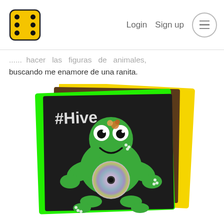Login  Sign up  ≡
... hacer las figuras de animales, buscando me enamore de una ranita.
[Figure (photo): A handmade frog craft made from green paper/foam placed on a dark chalkboard background. The chalkboard has '#Hive' written in chalk. The frog has large cartoon eyes, a smiling face, and holds a CD/DVD as its body/belly. The craft is displayed on overlapping yellow and bright green bordered frames.]